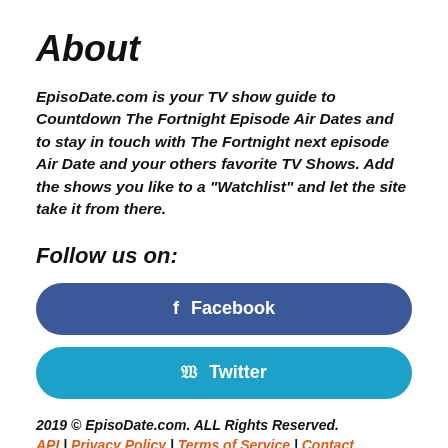About
EpisoDate.com is your TV show guide to Countdown The Fortnight Episode Air Dates and to stay in touch with The Fortnight next episode Air Date and your others favorite TV Shows. Add the shows you like to a "Watchlist" and let the site take it from there.
Follow us on:
[Figure (other): Blue rounded Facebook button with f icon and text Facebook]
[Figure (other): Teal rounded Twitter button with bird icon and text Twitter]
2019 © EpisoDate.com. ALL Rights Reserved.
API | Privacy Policy | Terms of Service | Contact